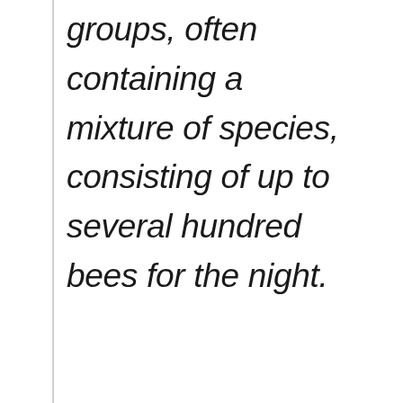groups, often containing a mixture of species, consisting of up to several hundred bees for the night.
[Figure (screenshot): Bottom portion of a webpage showing a like button (heart icon, count: 1), a share button, a 'WHAT'S NEXT' sidebar teaser for 'Stick Bugs 101: The...' with a circular thumbnail, a photo of a person with a quote overlay box showing quote marks and text 'I didn't', and a bottom advertisement bar for 'SHE CAN STEM' with a 'Learn More' button, STEM grid logo, ad council logo, and weather icon.]